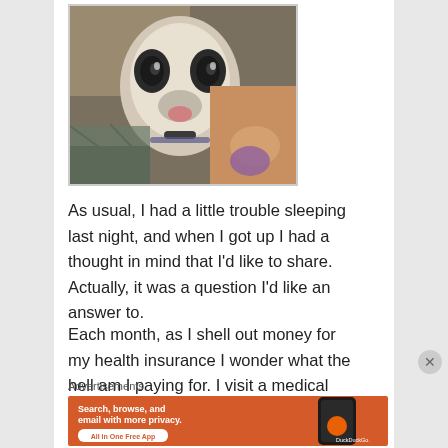[Figure (photo): A close-up photo of a dog (appears to be a Boston Terrier or similar breed) looking at the camera, wearing a collar, with toys visible in the background]
As usual, I had a little trouble sleeping last night, and when I got up I had a thought in mind that I'd like to share. Actually, it was a question I'd like an answer to.
Each month, as I shell out money for my health insurance I wonder what the hell am I paying for. I visit a medical professional once a year just so he can tell me that I need to take better care of myself.
Advertisements
[Figure (screenshot): DuckDuckGo advertisement banner with orange background showing text 'Search, browse, and email with more privacy. All in One Free App' with a phone mockup showing the DuckDuckGo logo]